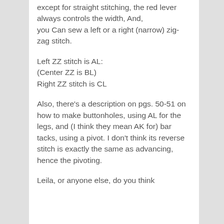except for straight stitching, the red lever always controls the width, And, you Can sew a left or a right (narrow) zig-zag stitch.
Left ZZ stitch is AL:
(Center ZZ is BL)
Right ZZ stitch is CL
Also, there's a description on pgs. 50-51 on how to make buttonholes, using AL for the legs, and (I think they mean AK for) bar tacks, using a pivot. I don't think its reverse stitch is exactly the same as advancing, hence the pivoting.
Leila, or anyone else, do you think